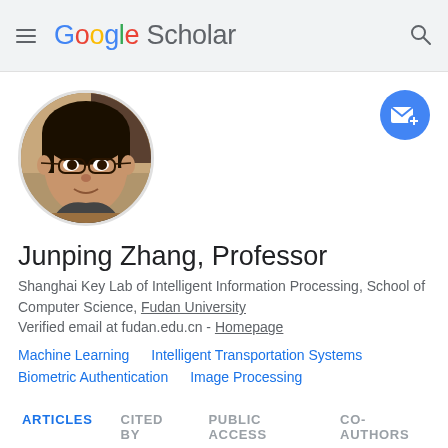Google Scholar
[Figure (photo): Circular profile photo of Junping Zhang, a man wearing glasses, against an indoor background]
Junping Zhang, Professor
Shanghai Key Lab of Intelligent Information Processing, School of Computer Science, Fudan University
Verified email at fudan.edu.cn - Homepage
Machine Learning
Intelligent Transportation Systems
Biometric Authentication
Image Processing
ARTICLES  CITED BY  PUBLIC ACCESS  CO-AUTHORS
SORT  CITED BY